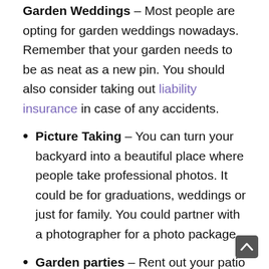Garden Weddings – Most people are opting for garden weddings nowadays. Remember that your garden needs to be as neat as a new pin. You should also consider taking out liability insurance in case of any accidents.
Picture Taking – You can turn your backyard into a beautiful place where people take professional photos. It could be for graduations, weddings or just for family. You could partner with a photographer for a photo package.
Garden parties – Rent out your patio and let people connect with nature.
Workout Classes – Sometimes, people need to move around or workout when the sun is coming...